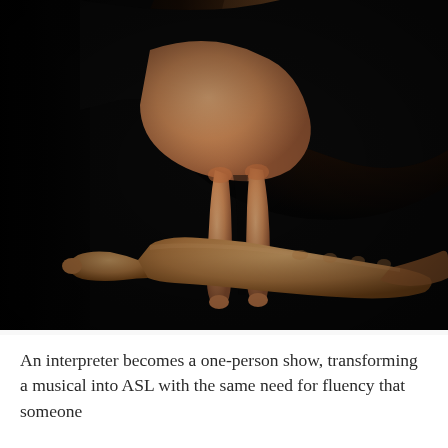[Figure (photo): Close-up photograph of two hands performing an ASL (American Sign Language) sign against a black background. The upper hand has two fingers (index and middle) pointing downward, while the lower hand is held flat and horizontal with fingers extended, palm facing upward.]
An interpreter becomes a one-person show, transforming a musical into ASL with the same need for fluency that someone